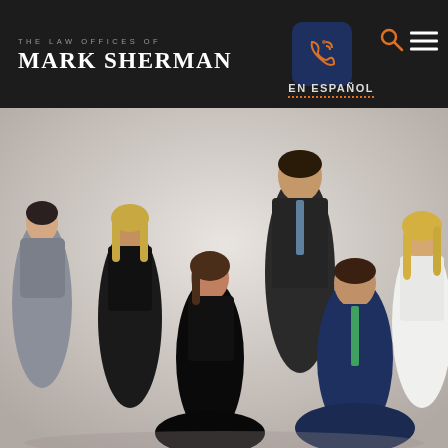THE LAW OFFICES OF MARK SHERMAN
EN ESPAÑOL
[Figure (photo): Group photo of six legal professionals (attorneys) in business attire, posed in a studio setting. Two men and four women, some seated and some standing, smiling at the camera.]